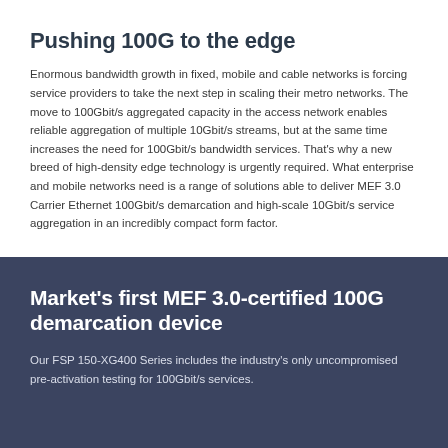Pushing 100G to the edge
Enormous bandwidth growth in fixed, mobile and cable networks is forcing service providers to take the next step in scaling their metro networks. The move to 100Gbit/s aggregated capacity in the access network enables reliable aggregation of multiple 10Gbit/s streams, but at the same time increases the need for 100Gbit/s bandwidth services. That's why a new breed of high-density edge technology is urgently required. What enterprise and mobile networks need is a range of solutions able to deliver MEF 3.0 Carrier Ethernet 100Gbit/s demarcation and high-scale 10Gbit/s service aggregation in an incredibly compact form factor.
Market's first MEF 3.0-certified 100G demarcation device
Our FSP 150-XG400 Series includes the industry's only uncompromised pre-activation testing for 100Gbit/s services.